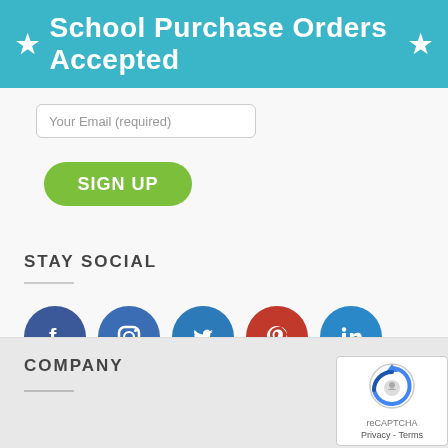★ School Purchase Orders Accepted ★
Your Email (required)
SIGN UP
STAY SOCIAL
[Figure (infographic): Row of 5 social media icons: Facebook (blue circle with f), Instagram (blue circle with camera), Twitter (blue circle with bird), Pinterest (red circle with p), LinkedIn (blue circle with in)]
COMPANY
[Figure (logo): reCAPTCHA logo with Privacy and Terms text]